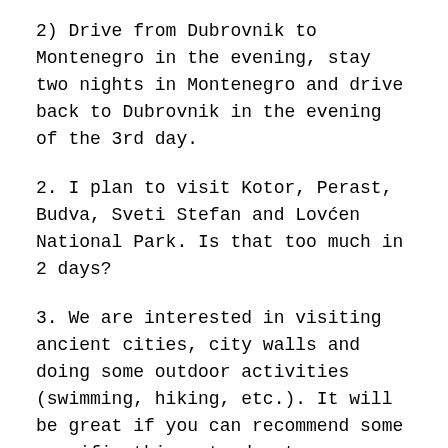2) Drive from Dubrovnik to Montenegro in the evening, stay two nights in Montenegro and drive back to Dubrovnik in the evening of the 3rd day.
2. I plan to visit Kotor, Perast, Budva, Sveti Stefan and Lovćen National Park. Is that too much in 2 days?
3. We are interested in visiting ancient cities, city walls and doing some outdoor activities (swimming, hiking, etc.). It will be great if you can recommend some specific things to do at